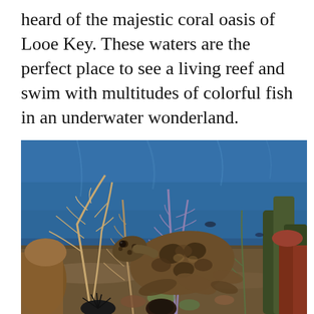heard of the majestic coral oasis of Looe Key. These waters are the perfect place to see a living reef and swim with multitudes of colorful fish in an underwater wonderland.
[Figure (photo): Underwater photograph of a sea turtle swimming over a coral reef with sea fans, corals, and various marine life visible in blue water at Looe Key.]